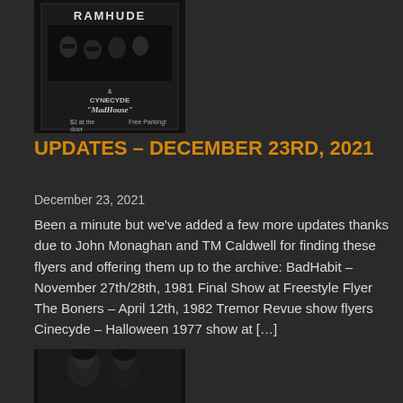[Figure (photo): Black and white photo/flyer showing band members (Ramones style) with text including 'CYNECYDE', 'MADHouse', '$2 at the door', 'Free Parking!']
UPDATES – DECEMBER 23RD, 2021
December 23, 2021
Been a minute but we've added a few more updates thanks due to John Monaghan and TM Caldwell for finding these flyers and offering them up to the archive: BadHabit – November 27th/28th, 1981 Final Show at Freestyle Flyer The Boners – April 12th, 1982 Tremor Revue show flyers Cinecyde – Halloween 1977 show at […]
[Figure (photo): Partial black and white photo visible at bottom of page, showing what appears to be people/band members]